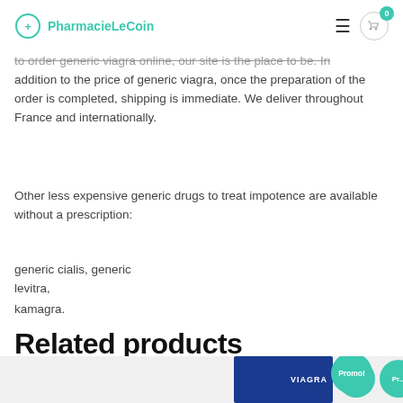PharmacieLeCoin
to order generic viagra online, our site is the place to be. In addition to the price of generic viagra, once the preparation of the order is completed, shipping is immediate. We deliver throughout France and internationally.
Other less expensive generic drugs to treat impotence are available without a prescription:
generic cialis, generic levitra,
kamagra.
Related products
[Figure (photo): Product images with Promo! badges for pharmacy products including Viagra]